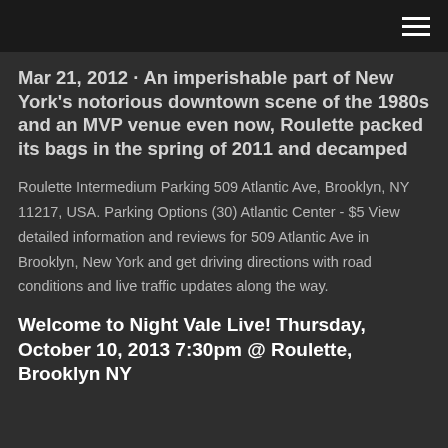Mar 21, 2012 · An imperishable part of New York's notorious downtown scene of the 1980s and an MVP venue even now, Roulette packed its bags in the spring of 2011 and decamped
Roulette Intermedium Parking 509 Atlantic Ave, Brooklyn, NY 11217, USA. Parking Options (30) Atlantic Center - $5 View detailed information and reviews for 509 Atlantic Ave in Brooklyn, New York and get driving directions with road conditions and live traffic updates along the way.
Welcome to Night Vale Live! Thursday, October 10, 2013 7:30pm @ Roulette, Brooklyn NY